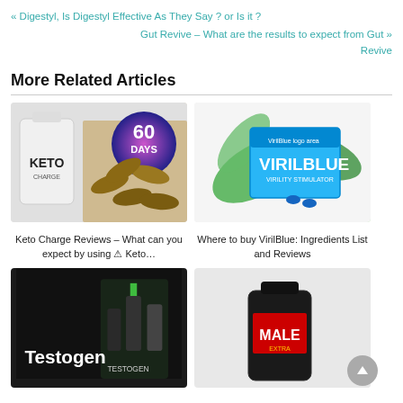« Digestyl, Is Digestyl Effective As They Say ? or Is it ?
Gut Revive – What are the results to expect from Gut » Revive
More Related Articles
[Figure (photo): Keto supplement bottle and capsules with 60 Days Guarantee badge]
Keto Charge Reviews – What can you expect by using ⚠ Keto…
[Figure (photo): VirilBlue virility stimulator box with green leaves]
Where to buy VirilBlue: Ingredients List and Reviews
[Figure (photo): Testogen supplement dark background with logo]
[Figure (photo): Male supplement bottle]